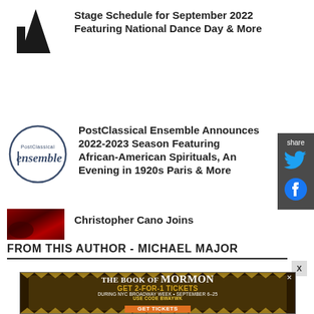[Figure (logo): Black triangular/architectural logo shape]
Stage Schedule for September 2022 Featuring National Dance Day & More
[Figure (logo): PostClassical Ensemble circular logo with text]
PostClassical Ensemble Announces 2022-2023 Season Featuring African-American Spirituals, An Evening in 1920s Paris & More
[Figure (photo): Dark red photo, likely musician or instrument]
Christopher Cano Joins
[Figure (illustration): Twitter bird icon in blue]
[Figure (illustration): Facebook circle icon in blue]
FROM THIS AUTHOR - MICHAEL MAJOR
[Figure (screenshot): The Book of Mormon advertisement - GET 2-FOR-1 TICKETS DURING NYC BROADWAY WEEK • SEPTEMBER 6-25 USE CODE BWAYWK GET TICKETS]